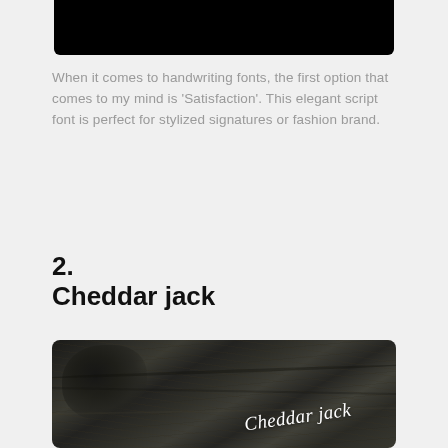[Figure (photo): Cropped bottom of a dark/black image at the top of the page]
When it comes to handwriting fonts, the first option that comes to my mind is 'Satisfaction'. This elegant script font is perfect for stylized signatures or fashion brand.
2.
Cheddar jack
[Figure (photo): Dark black-and-white photo of a wood grain surface with the text 'Cheddar jack' written in white cursive script overlaid on the wood texture]